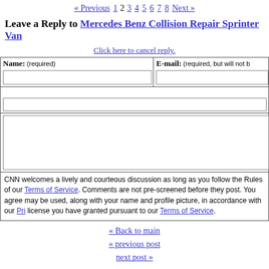« Previous 1 2 3 4 5 6 7 8 Next »
Leave a Reply to Mercedes Benz Collision Repair Sprinter Van
Click here to cancel reply.
| Name: (required) | E-mail: (required, but will not be published) |
| --- | --- |
CNN welcomes a lively and courteous discussion as long as you follow the Rules of Conduct set forth in our Terms of Service. Comments are not pre-screened before they post. You agree that anything you post may be used, along with your name and profile picture, in accordance with our Privacy Policy and the license you have granted pursuant to our Terms of Service.
« Back to main
« previous post
next post »
About "Reliable Sources"